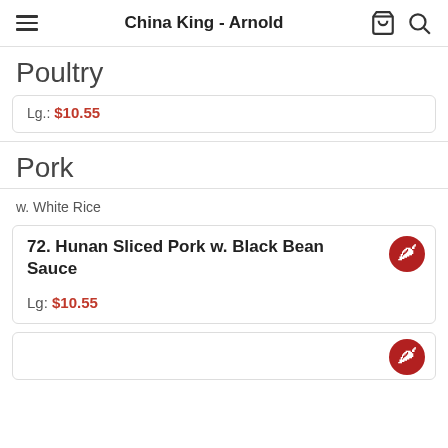China King - Arnold
Poultry
Lg.: $10.55
Pork
w. White Rice
72. Hunan Sliced Pork w. Black Bean Sauce
Lg: $10.55